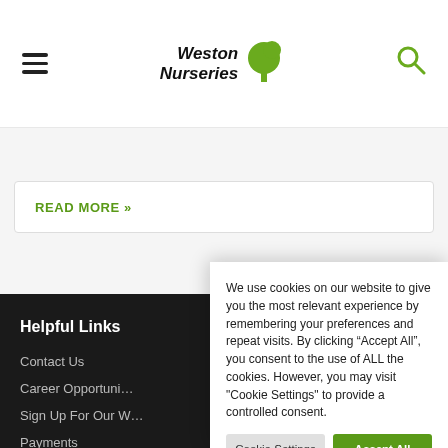Weston Nurseries [hamburger menu, logo, search icon]
READ MORE »
Helpful Links
Contact Us
Career Opportuni…
Sign Up For Our W…
Payments
We use cookies on our website to give you the most relevant experience by remembering your preferences and repeat visits. By clicking “Accept All”, you consent to the use of ALL the cookies. However, you may visit "Cookie Settings" to provide a controlled consent.
Cookie Settings   Accept All